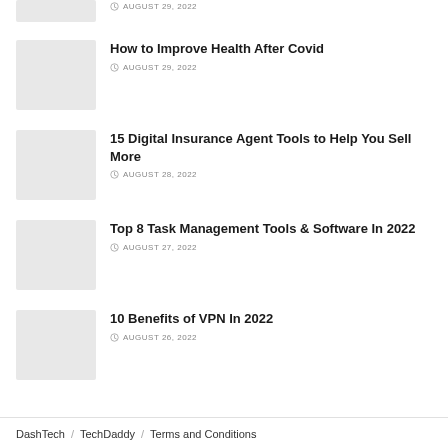[Figure (photo): Partial thumbnail image at top (cropped)]
AUGUST 29, 2022
[Figure (photo): Gray placeholder thumbnail for article]
How to Improve Health After Covid
AUGUST 29, 2022
[Figure (photo): Gray placeholder thumbnail for article]
15 Digital Insurance Agent Tools to Help You Sell More
AUGUST 28, 2022
[Figure (photo): Gray placeholder thumbnail for article]
Top 8 Task Management Tools & Software In 2022
AUGUST 27, 2022
[Figure (photo): Gray placeholder thumbnail for article]
10 Benefits of VPN In 2022
AUGUST 26, 2022
DashTech / TechDaddy / Terms and Conditions